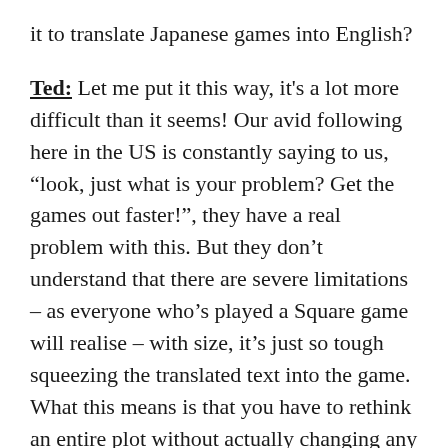it to translate Japanese games into English?
Ted: Let me put it this way, it’s a lot more difficult than it seems! Our avid following here in the US is constantly saying to us, “look, just what is your problem? Get the games out faster!”, they have a real problem with this. But they don’t understand that there are severe limitations – as everyone who’s played a Square game will realise – with size, it’s just so tough squeezing the translated text into the game. What this means is that you have to rethink an entire plot without actually changing any of the parameters that govern how the plot has implications on the rest of the game. So inevitably some depth is lost in the translation from Japanese to English.
Super Play: How much is lost?